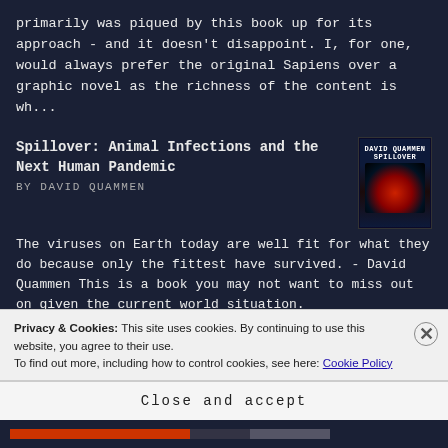primarily was piqued by this book up for its approach - and it doesn't disappoint. I, for one, would always prefer the original Sapiens over a graphic novel as the richness of the content is wh...
Spillover: Animal Infections and the Next Human Pandemic
BY DAVID QUAMMEN
[Figure (photo): Book cover of Spillover by David Quammen, dark cover with red and blue circular design]
The viruses on Earth today are well fit for what they do because only the fittest have survived. - David Quammen This is a book you may not want to miss out on given the current world situation.
Privacy & Cookies: This site uses cookies. By continuing to use this website, you agree to their use.
To find out more, including how to control cookies, see here: Cookie Policy
Close and accept